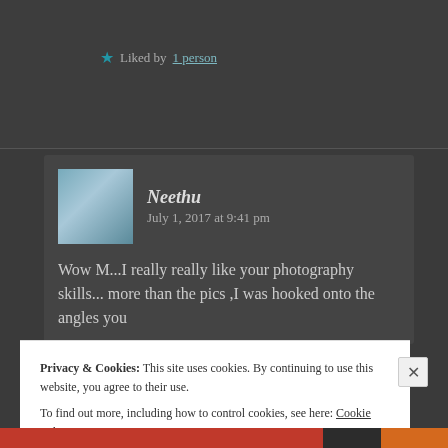★ Liked by 1 person
Neethu   July 1, 2017 at 9:41 pm
Wow M...I really really like your photography skills... more than the pics ,I was hooked onto the angles you
Privacy & Cookies: This site uses cookies. By continuing to use this website, you agree to their use. To find out more, including how to control cookies, see here: Cookie Policy
Close and accept